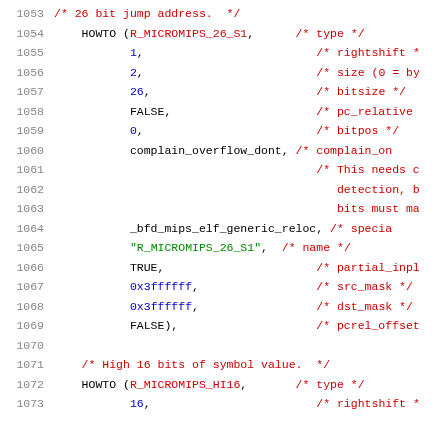Source code listing showing HOWTO relocation entries for R_MICROMIPS_26_S1 and R_MICROMIPS_HI16, lines 1053-1073
1053: /* 26 bit jump address. */
1054: HOWTO (R_MICROMIPS_26_S1, /* type */
1055: 1, /* rightshift *
1056: 2, /* size (0 = by
1057: 26, /* bitsize */
1058: FALSE, /* pc_relative
1059: 0, /* bitpos */
1060: complain_overflow_dont, /* complain_on
1061: /* This needs c
1062: detection, b
1063: bits must ma
1064: _bfd_mips_elf_generic_reloc, /* specia
1065: "R_MICROMIPS_26_S1", /* name */
1066: TRUE, /* partial_inpl
1067: 0x3ffffff, /* src_mask */
1068: 0x3ffffff, /* dst_mask */
1069: FALSE), /* pcrel_offset
1070:
1071: /* High 16 bits of symbol value. */
1072: HOWTO (R_MICROMIPS_HI16, /* type */
1073: 16, /* rightshift *